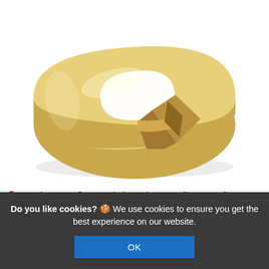[Figure (illustration): 3D golden/brass colored donut-shaped pipe collar or rose cover, shown from a slight overhead angle. The ring has a hole cut into it suggesting it can be split or cut to fit around pipes. The object has a shiny metallic gold finish.]
Can be cut to fit around pipes close to adjacent walls
Do you like cookies? 🍪 We use cookies to ensure you get the best experience on our website.